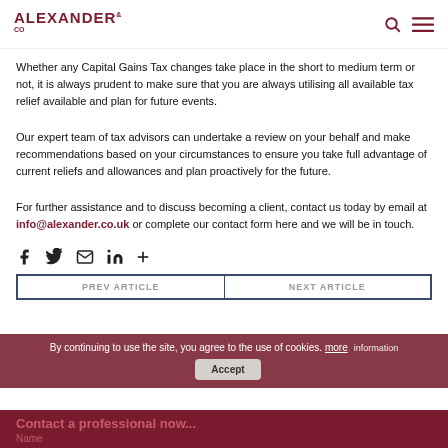ALEXANDER & CO
Whether any Capital Gains Tax changes take place in the short to medium term or not, it is always prudent to make sure that you are always utilising all available tax relief available and plan for future events.
Our expert team of tax advisors can undertake a review on your behalf and make recommendations based on your circumstances to ensure you take full advantage of current reliefs and allowances and plan proactively for the future.
For further assistance and to discuss becoming a client, contact us today by email at info@alexander.co.uk or complete our contact form here and we will be in touch.
[Figure (other): Social sharing icons: Facebook, Twitter, Email, LinkedIn, Plus]
By continuing to use the site, you agree to the use of cookies. more
Contact a professional now...
Name